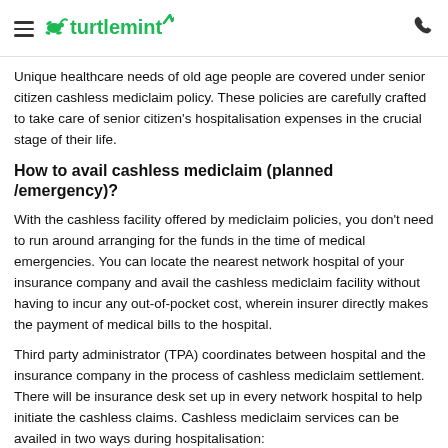turtlemint
Unique healthcare needs of old age people are covered under senior citizen cashless mediclaim policy. These policies are carefully crafted to take care of senior citizen's hospitalisation expenses in the crucial stage of their life.
How to avail cashless mediclaim (planned /emergency)?
With the cashless facility offered by mediclaim policies, you don't need to run around arranging for the funds in the time of medical emergencies. You can locate the nearest network hospital of your insurance company and avail the cashless mediclaim facility without having to incur any out-of-pocket cost, wherein insurer directly makes the payment of medical bills to the hospital.
Third party administrator (TPA) coordinates between hospital and the insurance company in the process of cashless mediclaim settlement. There will be insurance desk set up in every network hospital to help initiate the cashless claims. Cashless mediclaim services can be availed in two ways during hospitalisation:
Cashless claims for planned hospitalisation: